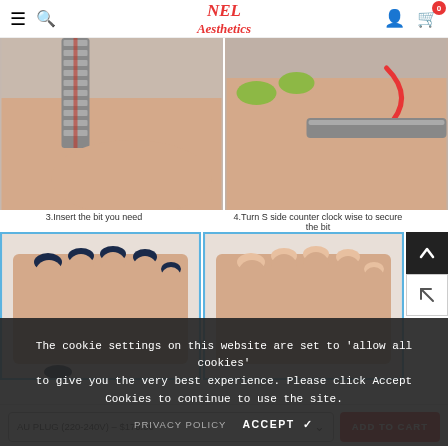NEL Aesthetics
[Figure (photo): Left: close-up of a metal nail drill bit being inserted into a drill handle (coiled spring grip visible). Right: hand with green nail polish turning the S-side of the drill counter-clockwise to secure the bit.]
3.Insert the bit you need
4.Turn S side counter clock wise to secure the bit
[Figure (photo): Left: hand with dark blue nail polish resting flat. Right: hand with natural nails resting flat, showing nail drill usage steps.]
The cookie settings on this website are set to 'allow all cookies' to give you the very best experience. Please click Accept Cookies to continue to use the site.
PRIVACY POLICY   ACCEPT ✓
AU PLUG (220-240V) – $170.00   ADD TO CART